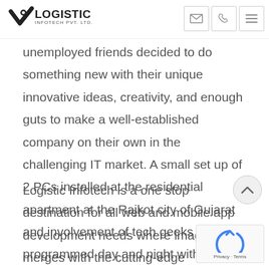Logistic Infotech Pvt. Ltd. — navigation bar with logo and icons
unemployed friends decided to do something new with their unique innovative ideas, creativity, and enough guts to make a well-established company on their own in the challenging IT market. A small set up of 2 PCs installed at the residential apartment at the Rajkot city of Gujarat and involvement of tech geeks who programmed day and night without getting interrupted by their social life, made the company into what it is today.
Logistic Infotech is a one stop destination for all web and mobile app development needs where imagination merges with the cutting-edge technologies to optimize the business importance in